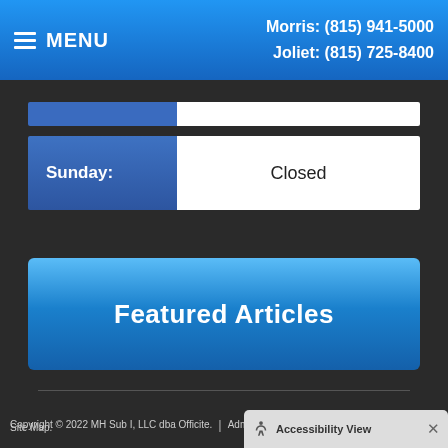MENU | Morris: (815) 941-5000 | Joliet: (815) 725-8400
| Day | Hours |
| --- | --- |
| Sunday: | Closed |
Featured Articles
[Figure (other): Social media icons: RSS feed, Facebook, Twitter]
Copyright © 2022 MH Sub I, LLC dba Officite. | Admin Log In | Site Map. | Accessibility View